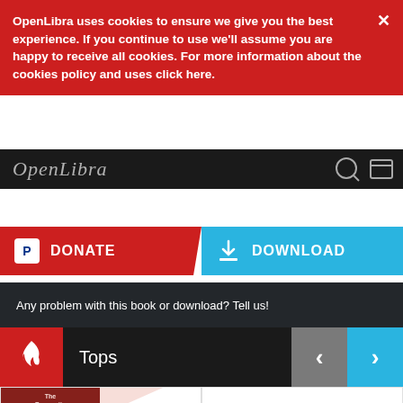OpenLibra uses cookies to ensure we give you the best experience. If you continue to use we'll assume you are happy to receive all cookies. For more information about the cookies policy and uses click here.
[Figure (screenshot): OpenLibra website navigation bar with logo in cursive script on black background]
[Figure (infographic): Donate button (red with PayPal icon) and Download button (blue with download icon)]
Any problem with this book or download? Tell us!
[Figure (infographic): Tops section header with flame icon, left/right navigation arrows]
[Figure (screenshot): Book card: The Agile Samurai - How Agile Masters with Pragmatic Programmers badge]
[Figure (screenshot): Book card: The Book Of Ruby]